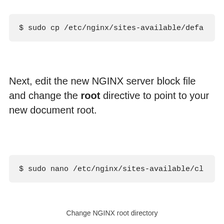$ sudo cp /etc/nginx/sites-available/defa
Next, edit the new NGINX server block file and change the root directive to point to your new document root.
$ sudo nano /etc/nginx/sites-available/cl
Change NGINX root directory